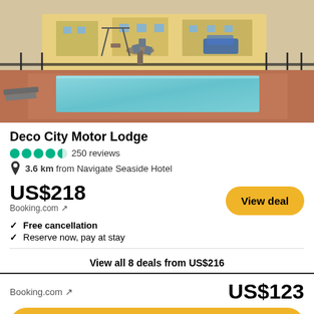[Figure (photo): Outdoor swimming pool at Deco City Motor Lodge with lounge chairs, patio table and chairs, and hotel buildings visible in the background. Deck has brick/terracotta paving around the pool.]
Deco City Motor Lodge
●●●●◐ 250 reviews
📍 3.6 km from Navigate Seaside Hotel
US$218
Booking.com ↗
✓ Free cancellation
✓ Reserve now, pay at stay
View all 8 deals from US$216
Booking.com ↗
US$123
View deal